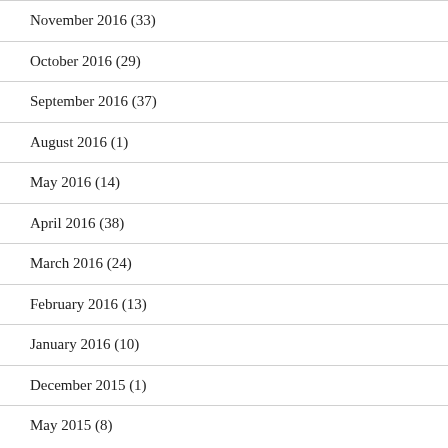November 2016 (33)
October 2016 (29)
September 2016 (37)
August 2016 (1)
May 2016 (14)
April 2016 (38)
March 2016 (24)
February 2016 (13)
January 2016 (10)
December 2015 (1)
May 2015 (8)